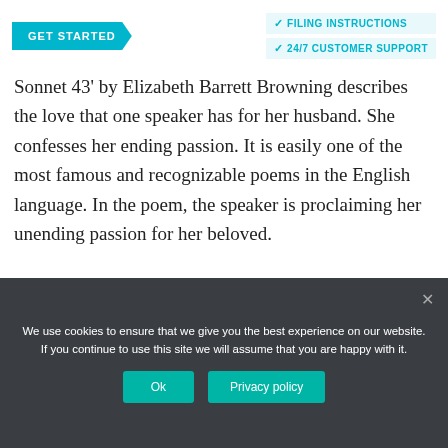GET STARTED | FILING INSTRUCTIONS | 24/7 CUSTOMER SUPPORT
Sonnet 43' by Elizabeth Barrett Browning describes the love that one speaker has for her husband. She confesses her ending passion. It is easily one of the most famous and recognizable poems in the English language. In the poem, the speaker is proclaiming her unending passion for her beloved.
Are mixed metaphors bad?
We use cookies to ensure that we give you the best experience on our website. If you continue to use this site we will assume that you are happy with it.